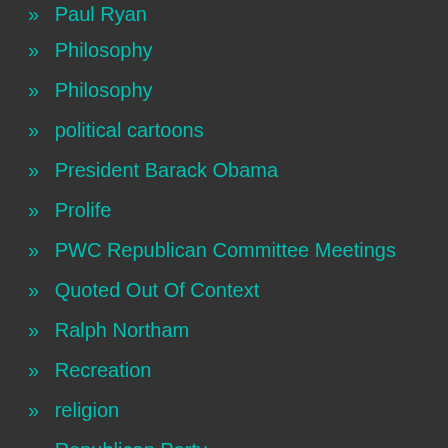» Paul Ryan
» Philosophy
» Philosophy
» political cartoons
» President Barack Obama
» Prolife
» PWC Republican Committee Meetings
» Quoted Out Of Context
» Ralph Northam
» Recreation
» religion
» Republican Party
» Rick Santorum
» Ron Paul
» schools